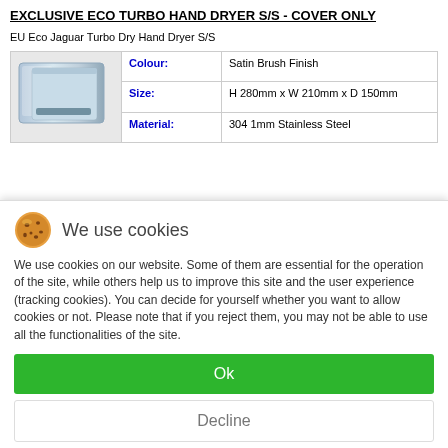EXCLUSIVE ECO TURBO HAND DRYER S/S - COVER ONLY
EU Eco Jaguar Turbo Dry Hand Dryer S/S
|  | Property | Value |
| --- | --- | --- |
| [image] | Colour: | Satin Brush Finish |
|  | Size: | H 280mm x W 210mm x D 150mm |
|  | Material: | 304 1mm Stainless Steel |
We use cookies
We use cookies on our website. Some of them are essential for the operation of the site, while others help us to improve this site and the user experience (tracking cookies). You can decide for yourself whether you want to allow cookies or not. Please note that if you reject them, you may not be able to use all the functionalities of the site.
Ok
Decline